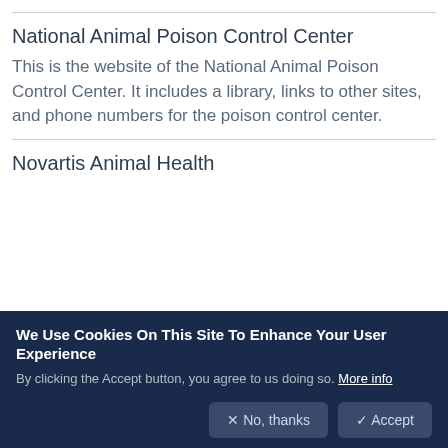National Animal Poison Control Center
This is the website of the National Animal Poison Control Center. It includes a library, links to other sites, and phone numbers for the poison control center.
Novartis Animal Health
We Use Cookies On This Site To Enhance Your User Experience
By clicking the Accept button, you agree to us doing so. More info